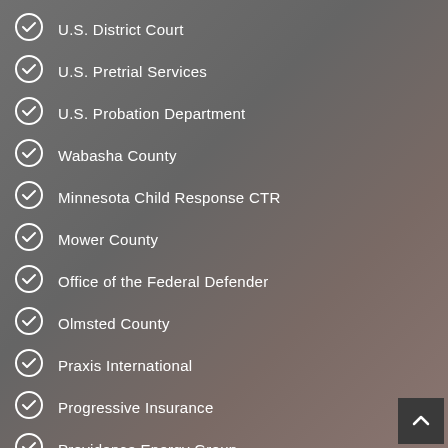U.S. District Court
U.S. Pretrial Services
U.S. Probation Department
Wabasha County
Minnesota Child Response CTR
Mower County
Office of the Federal Defender
Olmsted County
Praxis International
Progressive Insurance
Providence Energy Group